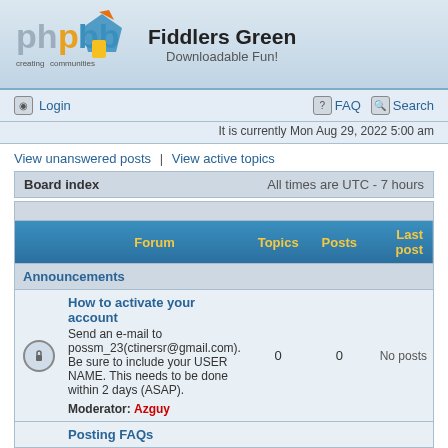[Figure (logo): phpBB logo with 'creating communities' text and geometric shapes in blue, orange, yellow]
Fiddlers Green
Downloadable Fun!
Login
FAQ  Search
It is currently Mon Aug 29, 2022 5:00 am
View unanswered posts | View active topics
| Board index | All times are UTC - 7 hours |
| --- | --- |
| Forum | Topics | Posts | Last post |
| --- | --- | --- | --- |
| Announcements |  |  |  |
| [lock icon] How to activate your account
Send an e-mail to possm_23(ctinersr@gmail.com). Be sure to include your USER NAME. This needs to be done within 2 days (ASAP).
Moderator: Azguy | 0 | 0 | No posts |
| Posting FAQs |  |  |  |